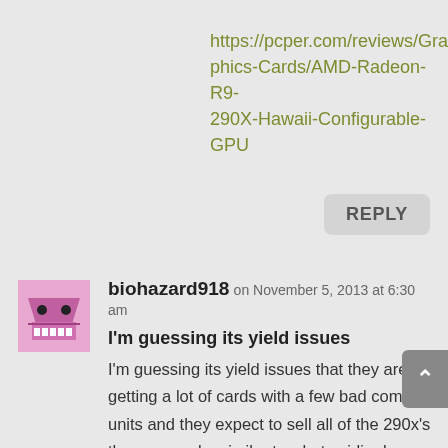https://pcper.com/reviews/Graphics-Cards/AMD-Radeon-R9-290X-Hawaii-Configurable-GPU
REPLY
biohazard918 on November 5, 2013 at 6:30 am
I'm guessing its yield issues
I'm guessing its yield issues that they are getting a lot of cards with a few bad compute units and they expect to sell all of the 290x's they can make similar to what nvidia does with the titian. Or they